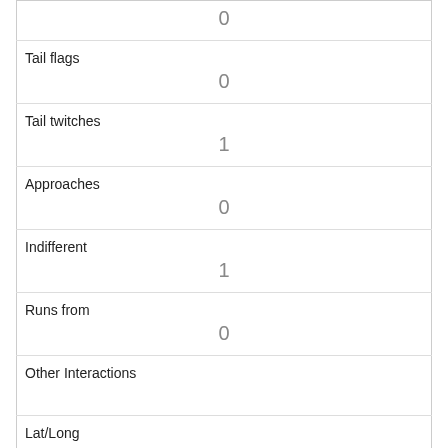| Tail flags | 0 |
| Tail twitches | 1 |
| Approaches | 0 |
| Indifferent | 1 |
| Runs from | 0 |
| Other Interactions |  |
| Lat/Long | POINT (-73.9806805581636 40.7681537966505) |
| Link | 1411 |
| rowid | 1411 |
| longitude |  |